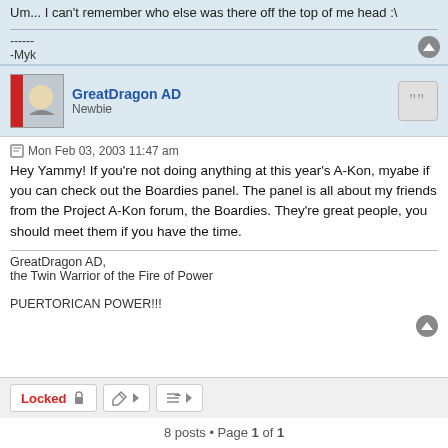Um... I can't remember who else was there off the top of me head :\
------
-Myk
GreatDragon AD
Newbie
Mon Feb 03, 2003 11:47 am
Hey Yammy! If you're not doing anything at this year's A-Kon, myabe if you can check out the Boardies panel. The panel is all about my friends from the Project A-Kon forum, the Boardies. They're great people, you should meet them if you have the time.
GreatDragon AD,
the Twin Warrior of the Fire of Power

PUERTORICAN POWER!!!
Locked  🔒
8 posts • Page 1 of 1